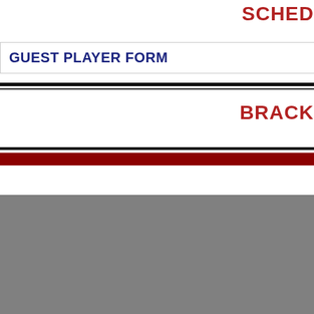SCHED
GUEST PLAYER FORM
BRACK
TOURNAMENTS    NATIONAL SITE    Copyright © 2017 -    w